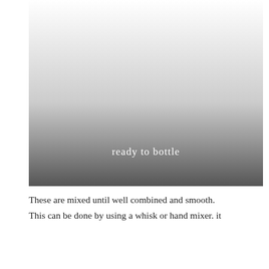[Figure (photo): A photograph fading from white at the top to a dark gray/black gradient band at the bottom, with the text 'ready to bottle' overlaid in white on the dark lower portion.]
These are mixed until well combined and smooth. This can be done by using a whisk or hand mixer. it